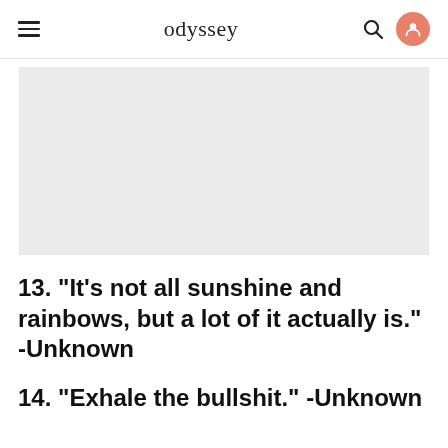odyssey
[Figure (other): Light gray rectangular placeholder image area]
13. "It's not all sunshine and rainbows, but a lot of it actually is." -Unknown
14. "Exhale the bullshit." -Unknown